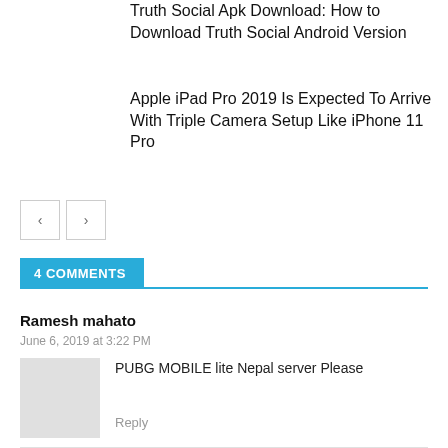Truth Social Apk Download: How to Download Truth Social Android Version
Apple iPad Pro 2019 Is Expected To Arrive With Triple Camera Setup Like iPhone 11 Pro
[Figure (other): Pagination buttons: left arrow and right arrow]
4 COMMENTS
Ramesh mahato
June 6, 2019 at 3:22 PM
PUBG MOBILE lite Nepal server Please
Reply